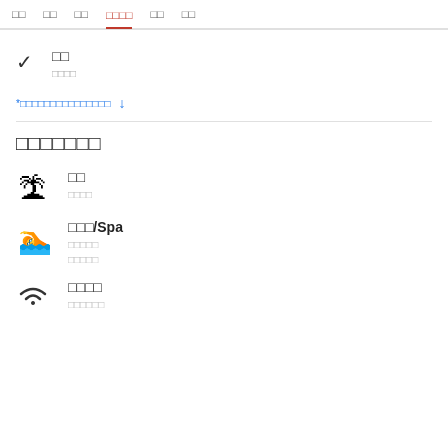□□ □□ □□ □□□□ □□ □□
✓ □□
□□□□
*□□□□□□□□□□□□□□□ ↓
□□□□□□□
🌴 □□
□□□□
🏊 □□□/Spa
□□□□□
□□□□□
📶 □□□□
□□□□□□